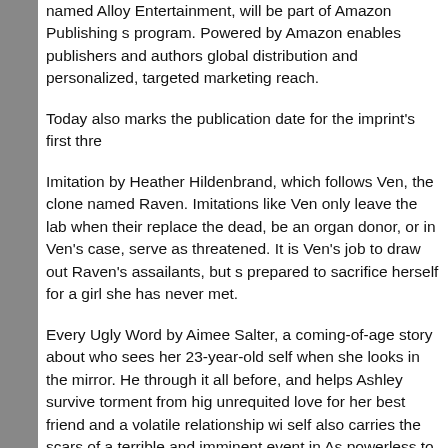named Alloy Entertainment, will be part of Amazon Publishing's program. Powered by Amazon enables publishers and authors global distribution and personalized, targeted marketing reach.
Today also marks the publication date for the imprint's first thre
Imitation by Heather Hildenbrand, which follows Ven, the clone named Raven. Imitations like Ven only leave the lab when their replace the dead, be an organ donor, or in Ven's case, serve as threatened. It is Ven's job to draw out Raven's assailants, but s prepared to sacrifice herself for a girl she has never met.
Every Ugly Word by Aimee Salter, a coming-of-age story about who sees her 23-year-old self when she looks in the mirror. He through it all before, and helps Ashley survive torment from hig unrequited love for her best friend and a volatile relationship wi self also carries the scars of a terrible and imminent event in As powerless to stop.
Rebel Wing by Tracy Banghart, a sci-fi fantasy adventure set in Atalanta. For Aris, the fighting is worlds away from the safety of boyfriend Calix is drafted into the military. When Aris herself is n